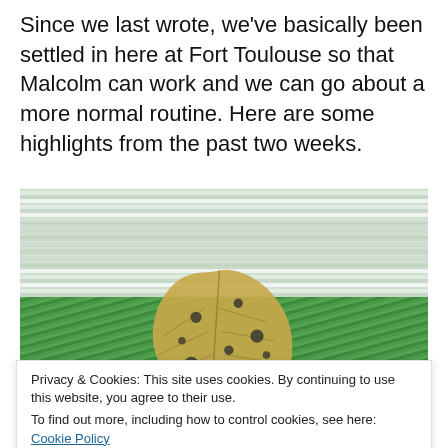Since we last wrote, we've basically been settled in here at Fort Toulouse so that Malcolm can work and we can go about a more normal routine. Here are some highlights from the past two weeks.
[Figure (photo): Close-up photo of a dried, spotted leaf resting on a green and white striped fabric or mat surface]
Privacy & Cookies: This site uses cookies. By continuing to use this website, you agree to their use.
To find out more, including how to control cookies, see here: Cookie Policy